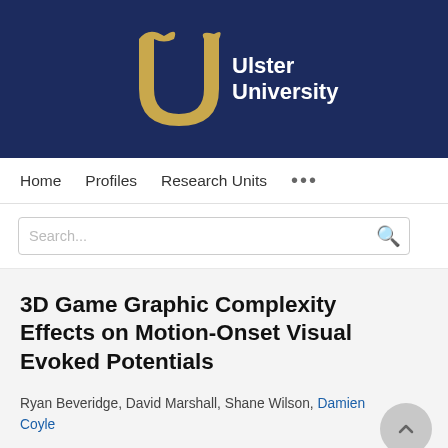[Figure (logo): Ulster University logo on dark navy background — gold stylized U letterform with bird/wing motif, white bold text 'Ulster University' to the right]
Home   Profiles   Research Units   ...
Search...
3D Game Graphic Complexity Effects on Motion-Onset Visual Evoked Potentials
Ryan Beveridge, David Marshall, Shane Wilson, Damien Coyle